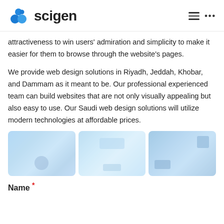scigen
attractiveness to win users' admiration and simplicity to make it easier for them to browse through the website's pages.
We provide web design solutions in Riyadh, Jeddah, Khobar, and Dammam as it meant to be. Our professional experienced team can build websites that are not only visually appealing but also easy to use. Our Saudi web design solutions will utilize modern technologies at affordable prices.
[Figure (photo): Three blurred website screenshot thumbnails displayed in a horizontal row with blue tones]
Name *